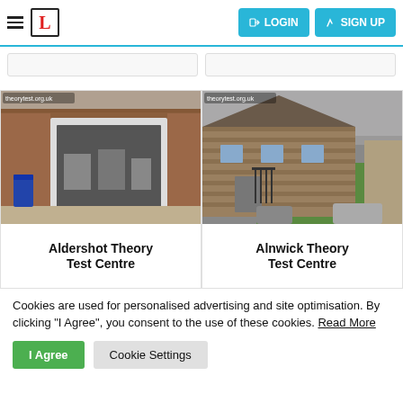LOGIN  SIGN UP
[Figure (photo): Street view photo of Aldershot Theory Test Centre building, a brick shopfront with large glazed shopfront and blue wheelie bin outside]
Aldershot Theory Test Centre
[Figure (photo): Street view photo of Alnwick Theory Test Centre, a stone building with iron railings and green lawn]
Alnwick Theory Test Centre
Cookies are used for personalised advertising and site optimisation. By clicking "I Agree", you consent to the use of these cookies. Read More